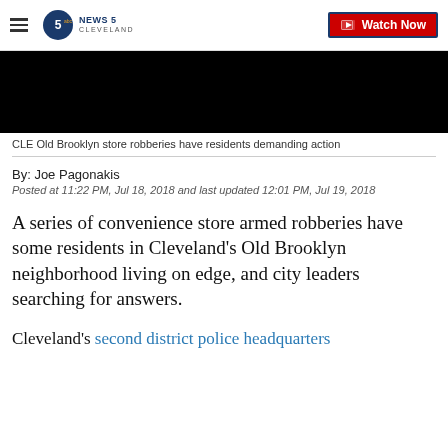NEWS 5 CLEVELAND | Watch Now
[Figure (photo): Black video thumbnail/player area]
CLE Old Brooklyn store robberies have residents demanding action
By: Joe Pagonakis
Posted at 11:22 PM, Jul 18, 2018 and last updated 12:01 PM, Jul 19, 2018
A series of convenience store armed robberies have some residents in Cleveland's Old Brooklyn neighborhood living on edge, and city leaders searching for answers.
Cleveland's second district police headquarters